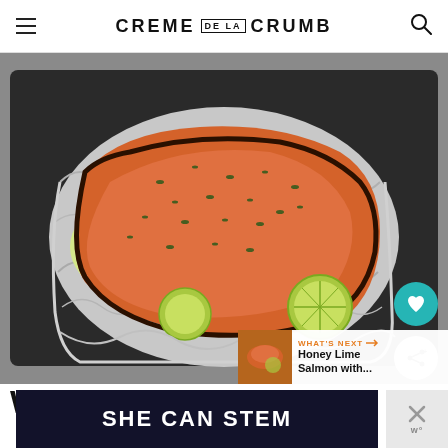CREME DE LA CRUMB
[Figure (photo): Salmon fillet baked in aluminum foil on a dark baking sheet, topped with herbs, with lime slices underneath, photographed from above on a gray surface.]
WHAT'S NEXT → Honey Lime Salmon with...
Why This Recipe Works
SHE CAN STEM